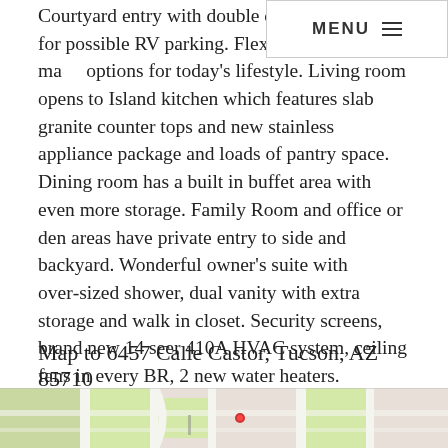Courtyard entry with double carport plus room for possible RV parking. Flexible spaces with many options for today's lifestyle. Living room opens to Island kitchen which features slab granite counter tops and new stainless appliance package and loads of pantry space. Dining room has a built in buffet area with even more storage. Family Room and office or den areas have private entry to side and backyard. Wonderful owner's suite with over-sized shower, dual vanity with extra storage and walk in closet. Security screens, brand new 14 seer 410A HVAC system, ceiling fans in every BR, 2 new water heaters. Backyard with covered patio, 2 storage sheds, shady ramada with bar area and North facing backyard.
MENU
Map to 6457 Calle Castor, Tucson, AZ 85710
[Figure (map): Street map showing area around 6457 Calle Castor, Tucson, AZ 85710 with roads and green areas visible.]